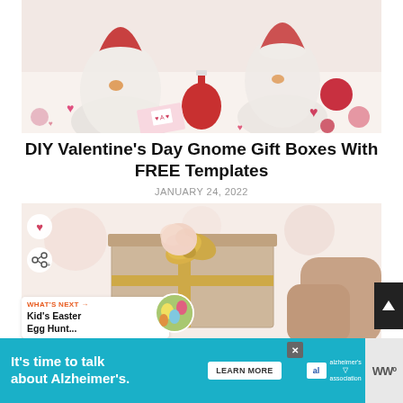[Figure (photo): Valentine's Day gnome scene with fluffy white gnomes, a red Hershey's Kiss chocolate, heart confetti, and Valentine's Day cards on a white surface]
DIY Valentine's Day Gnome Gift Boxes With FREE Templates
JANUARY 24, 2022
[Figure (photo): Kraft paper gift box with gold ribbon and a pink pom-pom decoration, with 'HAPPY' text visible, held by hands in background]
WHAT'S NEXT → Kid's Easter Egg Hunt...
It's time to talk about Alzheimer's.
LEARN MORE